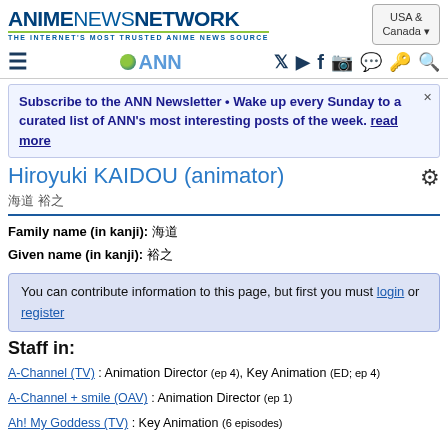ANIME NEWS NETWORK - THE INTERNET'S MOST TRUSTED ANIME NEWS SOURCE | USA & Canada
Subscribe to the ANN Newsletter • Wake up every Sunday to a curated list of ANN's most interesting posts of the week. read more
Hiroyuki KAIDOU (animator)
海道 裕之
Family name (in kanji): 海道
Given name (in kanji): 裕之
You can contribute information to this page, but first you must login or register
Staff in:
A-Channel (TV) : Animation Director (ep 4), Key Animation (ED; ep 4)
A-Channel + smile (OAV) : Animation Director (ep 1)
Ah! My Goddess (TV) : Key Animation (6 episodes)